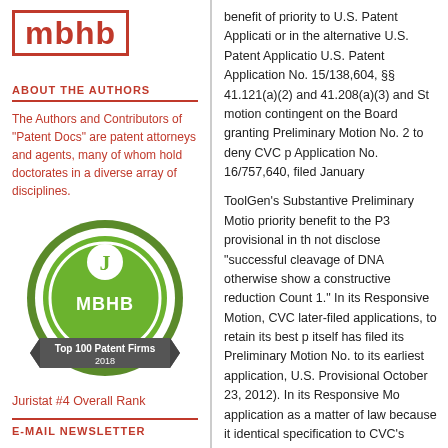[Figure (logo): MBHB logo — red letters 'mbhb' inside a red square bracket border]
ABOUT THE AUTHORS
The Authors and Contributors of "Patent Docs" are patent attorneys and agents, many of whom hold doctorates in a diverse array of disciplines.
[Figure (illustration): Green circular badge with 'MBHB' text and 'Top 100 Patent Firms 2018' banner ribbon at the bottom, with a white stylized 'J' icon at the top]
Juristat #4 Overall Rank
E-MAIL NEWSLETTER
benefit of priority to U.S. Patent Application or in the alternative U.S. Patent Application U.S. Patent Application No. 15/138,604, §§ 41.121(a)(2) and 41.208(a)(3) and motion contingent on the Board granting Preliminary Motion No. 2 to deny CVC p Application No. 16/757,640, filed January
ToolGen's Substantive Preliminary Motion priority benefit to the P3 provisional in th not disclose "successful cleavage of DNA otherwise show a constructive reduction Count 1." In its Responsive Motion, CVC later-filed applications, to retain its best p itself has filed its Preliminary Motion No. to its earliest application, U.S. Provisional October 23, 2012). In its Responsive Mo application as a matter of law because it identical specification to CVC's application it therefore is entitled to a presumption th constructive reduction to practice thereby Performance Contracting, Inc., 38 F.3d 5 alternative priority claims were based on